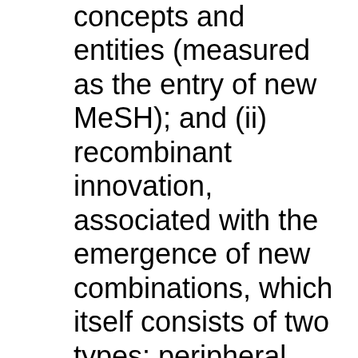concepts and entities (measured as the entry of new MeSH); and (ii) recombinant innovation, associated with the emergence of new combinations, which itself consists of two types: peripheral (i.e., combinations involving new knowledge) and core (combinations comprised of pre-existing knowledge only). Another relevant question